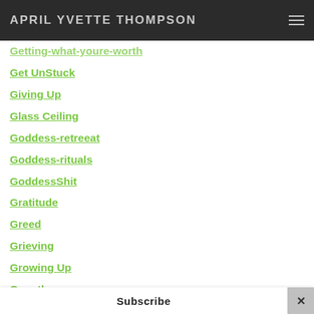APRIL YVETTE THOMPSON
Getting-what-youre-worth
Get UnStuck
Giving Up
Glass Ceiling
Goddess-retreeat
Goddess-rituals
GoddessShit
Gratitude
Greed
Grieving
Growing Up
Growth
Hammam
Happiness
Healing
Subscribe